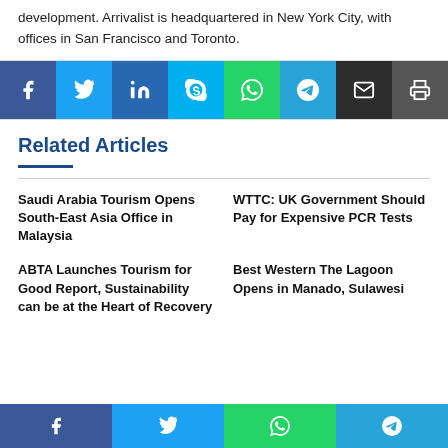development. Arrivalist is headquartered in New York City, with offices in San Francisco and Toronto.
[Figure (infographic): Social share button bar with icons for Facebook, Twitter, LinkedIn, Skype, WhatsApp, Telegram, Email, and Print]
Related Articles
Saudi Arabia Tourism Opens South-East Asia Office in Malaysia
WTTC: UK Government Should Pay for Expensive PCR Tests
ABTA Launches Tourism for Good Report, Sustainability can be at the Heart of Recovery
Best Western The Lagoon Opens in Manado, Sulawesi
[Figure (infographic): Bottom social share bar with Facebook, Twitter, WhatsApp, and Telegram icons]